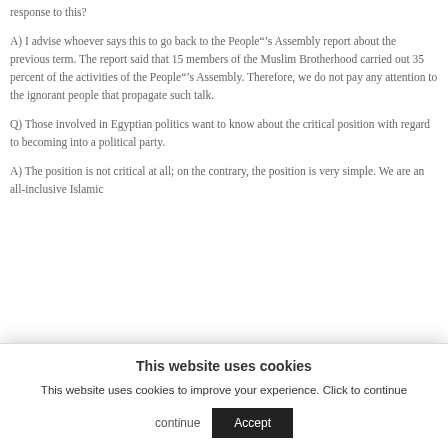response to this?
A) I advise whoever says this to go back to the People"’s Assembly report about the previous term. The report said that 15 members of the Muslim Brotherhood carried out 35 percent of the activities of the People"’s Assembly. Therefore, we do not pay any attention to the ignorant people that propagate such talk.
Q) Those involved in Egyptian politics want to know about the critical position with regard to becoming into a political party.
A) The position is not critical at all; on the contrary, the position is very simple. We are an all-inclusive Islamic
This website uses cookies
This website uses cookies to improve your experience. Click to continue
Accept